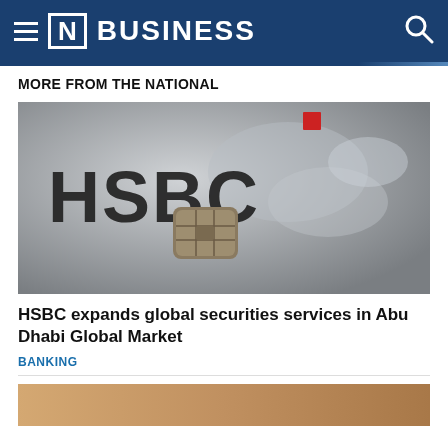[N] BUSINESS
MORE FROM THE NATIONAL
[Figure (photo): Close-up photo of an HSBC credit card showing the HSBC logo in large black letters, a red logo mark, and a metallic chip, with a world map visible in the background on a grey card surface.]
HSBC expands global securities services in Abu Dhabi Global Market
BANKING
[Figure (photo): Partial bottom image, partially visible, showing a warm-toned scene (cut off).]